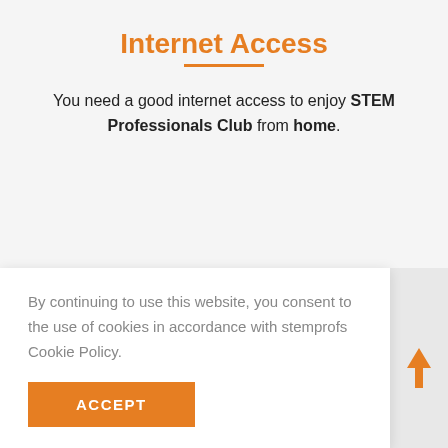Internet Access
You need a good internet access to enjoy STEM Professionals Club from home.
By continuing to use this website, you consent to the use of cookies in accordance with stemprofs Cookie Policy.
ACCEPT